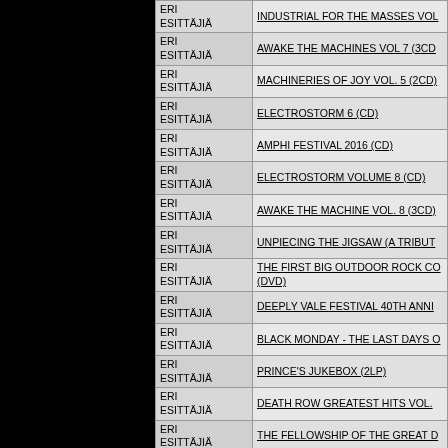| Artist | Title |
| --- | --- |
| ERI ESITTÄJIÄ | INDUSTRIAL FOR THE MASSES VOL... |
| ERI ESITTÄJIÄ | AWAKE THE MACHINES VOL 7 (3CD... |
| ERI ESITTÄJIÄ | MACHINERIES OF JOY VOL. 5 (2CD)... |
| ERI ESITTÄJIÄ | ELECTROSTORM 6 (CD) |
| ERI ESITTÄJIÄ | AMPHI FESTIVAL 2016 (CD) |
| ERI ESITTÄJIÄ | ELECTROSTORM VOLUME 8 (CD) |
| ERI ESITTÄJIÄ | AWAKE THE MACHINE VOL. 8 (3CD)... |
| ERI ESITTÄJIÄ | UNPIECING THE JIGSAW (A TRIBUT... |
| ERI ESITTÄJIÄ | THE FIRST BIG OUTDOOR ROCK CO... (DVD) |
| ERI ESITTÄJIÄ | DEEPLY VALE FESTIVAL 40TH ANNI... |
| ERI ESITTÄJIÄ | BLACK MONDAY - THE LAST DAYS O... |
| ERI ESITTÄJIÄ | PRINCE'S JUKEBOX (2LP) |
| ERI ESITTÄJIÄ | DEATH ROW GREATEST HITS VOL. ... |
| ERI ESITTÄJIÄ | THE FELLOWSHIP OF THE GREAT D... |
| ERI ESITTÄJIÄ | IN THE TWILIGHT, THESE ROCKS H... |
| ERI ESITTÄJIÄ | MMXVIII (cd dIGIPAK) |
| ERI ESITTÄJIÄ | DJ HARVEY IS THE SOUND OF MER... |
| ERI ESITTÄJIÄ | DJ HARVEY - MERCURY RISING - VO... |